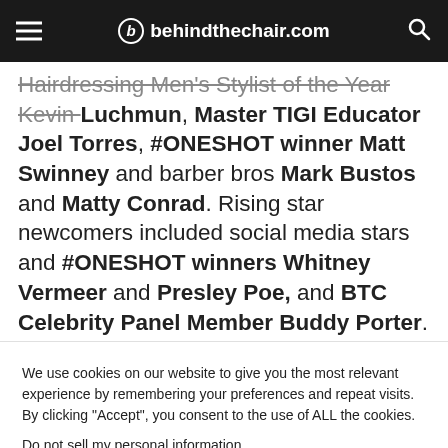behindthechair.com
Hairdressing Men's Stylist of the Year Kevin Luchmun, Master TIGI Educator Joel Torres, #ONESHOT winner Matt Swinney and barber bros Mark Bustos and Matty Conrad. Rising star newcomers included social media stars and #ONESHOT winners Whitney Vermeer and Presley Poe, and BTC Celebrity Panel Member Buddy Porter.
We use cookies on our website to give you the most relevant experience by remembering your preferences and repeat visits. By clicking “Accept”, you consent to the use of ALL the cookies.
Do not sell my personal information.